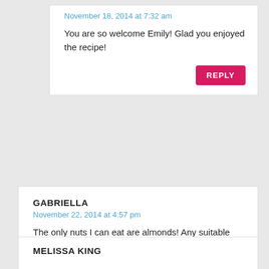November 18, 2014 at 7:32 am
You are so welcome Emily! Glad you enjoyed the recipe!
REPLY
GABRIELLA
November 22, 2014 at 4:57 pm
The only nuts I can eat are almonds! Any suitable alternative to cashew butter? Desperate to try out some of these gorgeous recipes!
REPLY
MELISSA KING